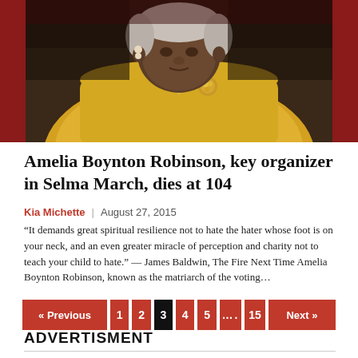[Figure (photo): Elderly woman wearing a yellow outfit with pearl necklace and brooch, photographed from chest up with a dark/red background]
Amelia Boynton Robinson, key organizer in Selma March, dies at 104
Kia Michette | August 27, 2015
“It demands great spiritual resilience not to hate the hater whose foot is on your neck, and an even greater miracle of perception and charity not to teach your child to hate.” — James Baldwin, The Fire Next Time Amelia Boynton Robinson, known as the matriarch of the voting…
ADVERTISMENT